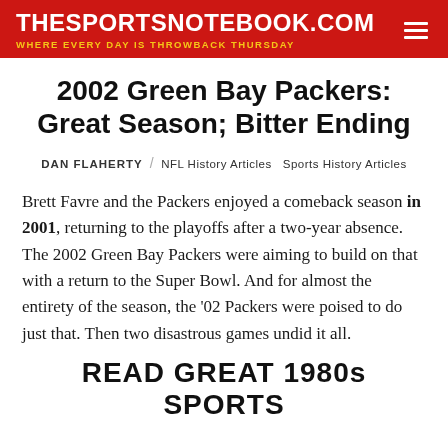THESPORTSNOTEBOOK.COM / WHERE EVERY DAY IS THROWBACK THURSDAY
2002 Green Bay Packers: Great Season; Bitter Ending
DAN FLAHERTY / NFL History Articles  Sports History Articles
Brett Favre and the Packers enjoyed a comeback season in 2001, returning to the playoffs after a two-year absence. The 2002 Green Bay Packers were aiming to build on that with a return to the Super Bowl. And for almost the entirety of the season, the '02 Packers were poised to do just that. Then two disastrous games undid it all.
READ GREAT 1980s SPORTS